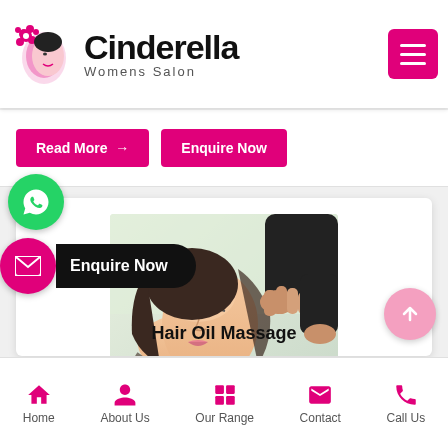Cinderella Womens Salon
Read More → | Enquire Now
[Figure (photo): Woman receiving a hair oil massage, lying back with eyes closed while hands massage her scalp]
Hair Oil Massage
[Figure (other): WhatsApp contact bubble (green circle with WhatsApp logo)]
[Figure (other): Enquire Now floating action button bar with envelope icon]
[Figure (other): Scroll to top arrow button (pink circle with up arrow)]
Home | About Us | Our Range | Contact | Call Us